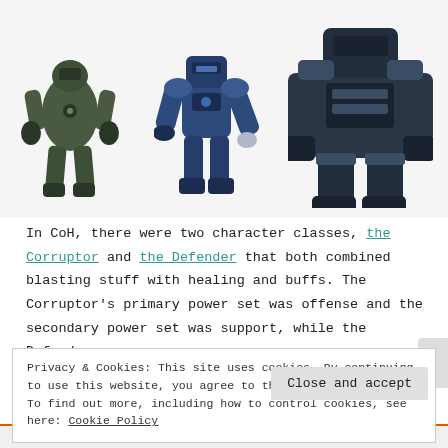[Figure (illustration): Three robot/mech character illustrations side by side against a light gray background. Left: a dark green bipedal mech. Center: a blue/dark armored robot standing upright. Right: a large dark blue heavily-armored mech, partially cropped.]
In CoH, there were two character classes, the Corruptor and the Defender that both combined blasting stuff with healing and buffs. The Corruptor's primary power set was offense and the secondary power set was support, while the Defender was the exact opposite. A third class, the Blaster,
Privacy & Cookies: This site uses cookies. By continuing to use this website, you agree to their use.
To find out more, including how to control cookies, see here: Cookie Policy
Close and accept